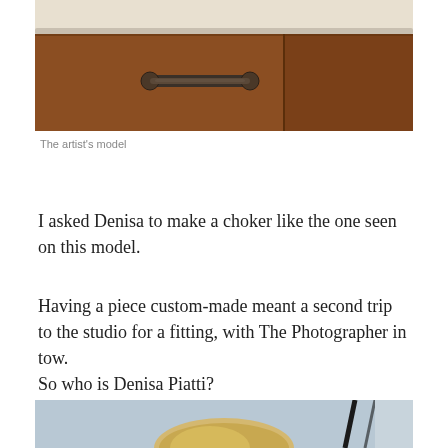[Figure (photo): Close-up photo of a wooden dresser drawer with a dark metal handle and a white surface/countertop visible at the top. The artist's model.]
The artist’s model
I asked Denisa to make a choker like the one seen on this model.
Having a piece custom-made meant a second trip to the studio for a fitting, with The Photographer in tow.
So who is Denisa Piatti?
[Figure (photo): Partial photo showing the top of a person's head with blonde hair, partially cropped at bottom of page.]